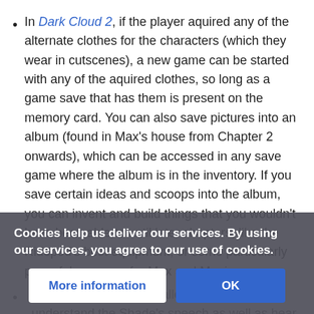In Dark Cloud 2, if the player aquired any of the alternate clothes for the characters (which they wear in cutscenes), a new game can be started with any of the aquired clothes, so long as a game save that has them is present on the memory card. You can also save pictures into an album (found in Max's house from Chapter 2 onwards), which can be accessed in any save game where the album is in the inventory. If you save certain ideas and scoops into the album, you can invent and build things that you wouldn't have been able to until later chapters, like the Ridepod's best equipment, or some particularly powerful weapons for Max and Monica.
Nier's New Game Plus allows the players to understand the Shade's speech as well as hear Tyrann along with the result is that it
Cookies help us deliver our services. By using our services, you agree to our use of cookies.